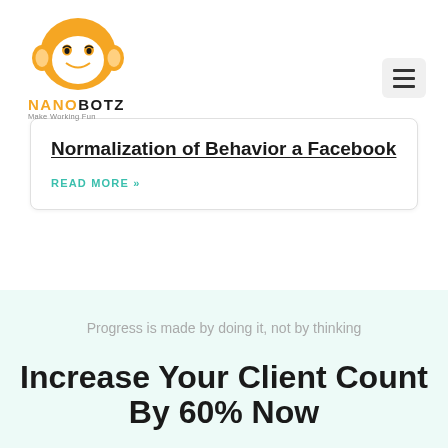NanoBotz — Make Working Fun
Normalization of Behavior a Facebook
READ MORE »
Progress is made by doing it, not by thinking
Increase Your Client Count By 60% Now